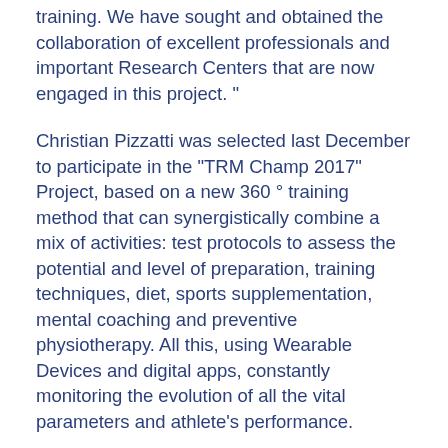training. We have sought and obtained the collaboration of excellent professionals and important Research Centers that are now engaged in this project. "
Christian Pizzatti was selected last December to participate in the "TRM Champ 2017" Project, based on a new 360 ° training method that can synergistically combine a mix of activities: test protocols to assess the potential and level of preparation, training techniques, diet, sports supplementation, mental coaching and preventive physiotherapy. All this, using Wearable Devices and digital apps, constantly monitoring the evolution of all the vital parameters and athlete's performance.
The TRM Method has been adapted and enriched by the know-how gained in the 2016 Summer thanks to the scientific research part of the "Transpyrenea Extreme" project conducted with the CNR (National Research Council) of Pisa and first experienced by Cristina Tasselli and Marco Mori, Athletes and Coaches, during the toughest race in the world the Transpyrenea of 900km and 55,000m. D +, where they brought Italy to the Podium...